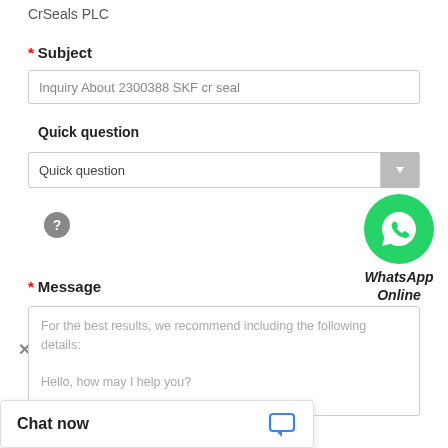CrSeals PLC
* Subject
Inquiry About 2300388 SKF cr seal
Quick question
Quick question
[Figure (logo): WhatsApp green circle icon with phone handset, labeled WhatsApp Online]
?
* Message
For the best results, we recommend including the following details:
Hello, how may I help you?
Chat now